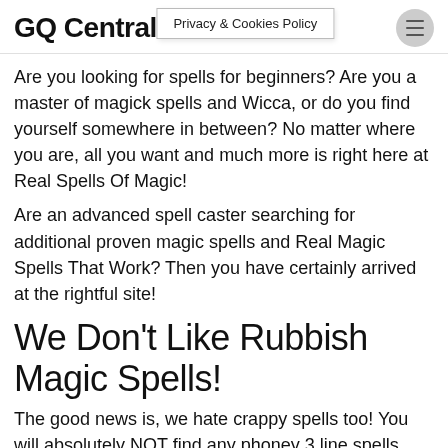GQ Central
Privacy & Cookies Policy
Are you looking for spells for beginners? Are you a master of magick spells and Wicca, or do you find yourself somewhere in between? No matter where you are, all you want and much more is right here at Real Spells Of Magic!
Are an advanced spell caster searching for additional proven magic spells and Real Magic Spells That Work? Then you have certainly arrived at the rightful site!
We Don't Like Rubbish Magic Spells!
The good news is, we hate crappy spells too! You will absolutely NOT find any phoney 3 line spells here